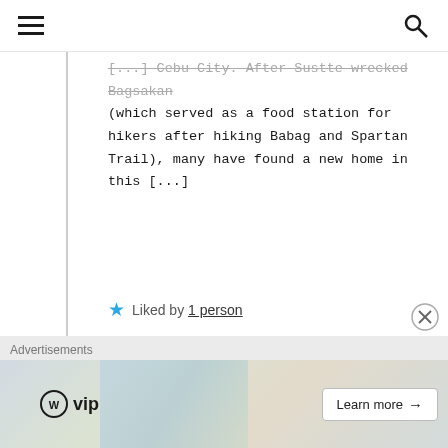☰  🔍
[...] Cebu City. After Sustte wrecked Bagsakan (which served as a food station for hikers after hiking Babag and Spartan Trail), many have found a new home in this [...]
★ Liked by 1 person
Leave a Reply
Your email address will not be published. Required fields are marked *
Advertisements